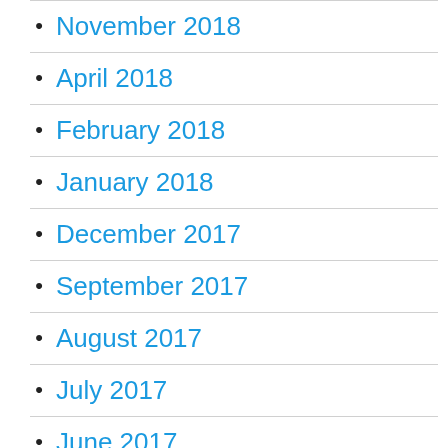November 2018
April 2018
February 2018
January 2018
December 2017
September 2017
August 2017
July 2017
June 2017
May 2017